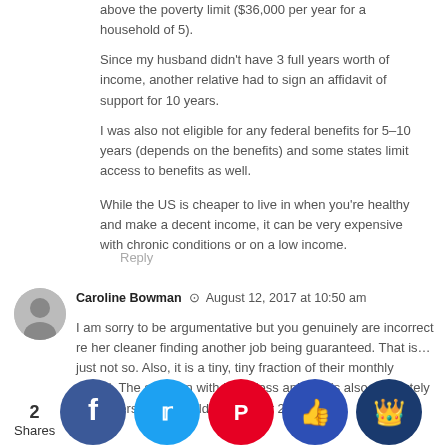above the poverty limit ($36,000 per year for a household of 5).
Since my husband didn't have 3 full years worth of income, another relative had to sign an affidavit of support for 10 years.
I was also not eligible for any federal benefits for 5-10 years (depends on the benefits) and some states limit access to benefits as well.
While the US is cheaper to live in when you're healthy and make a decent income, it can be very expensive with chronic conditions or on a low income.
Reply
Caroline Bowman · August 12, 2017 at 10:50 am
I am sorry to be argumentative but you genuinely are incorrect re her cleaner finding another job being guaranteed. That is... just not so. Also, it is a tiny, tiny fraction of their monthly spend. The situation with homeless animals is also absolutely dire. I personally would not pay for 2 animals to countries one it (UK to ed and w d there for a decade and a UK pass t holder) a